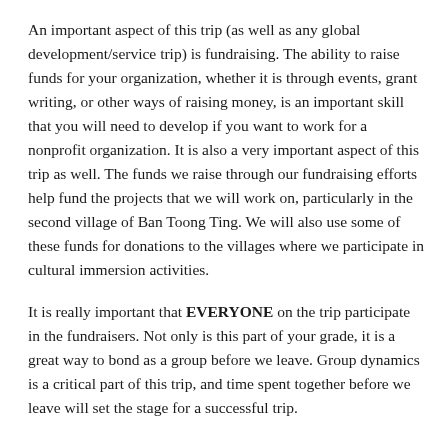An important aspect of this trip (as well as any global development/service trip) is fundraising. The ability to raise funds for your organization, whether it is through events, grant writing, or other ways of raising money, is an important skill that you will need to develop if you want to work for a nonprofit organization. It is also a very important aspect of this trip as well. The funds we raise through our fundraising efforts help fund the projects that we will work on, particularly in the second village of Ban Toong Ting. We will also use some of these funds for donations to the villages where we participate in cultural immersion activities.
It is really important that EVERYONE on the trip participate in the fundraisers. Not only is this part of your grade, it is a great way to bond as a group before we leave. Group dynamics is a critical part of this trip, and time spent together before we leave will set the stage for a successful trip.